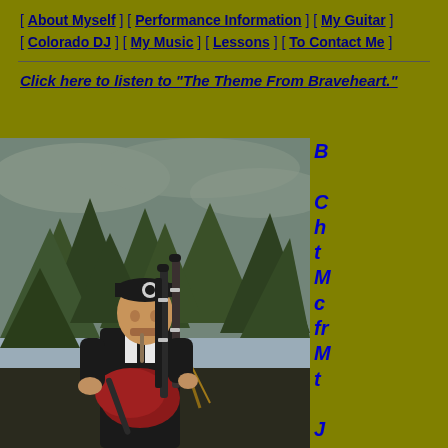[ About Myself ] [ Performance Information ] [ My Guitar ] [ Colorado DJ ] [ My Music ] [ Lessons ] [ To Contact Me ]
Click here to listen to "The Theme From Braveheart."
[Figure (photo): Bagpiper in black formal attire with black cap playing bagpipes outdoors with trees in the background]
Partial side text visible on right edge with blue italic bold text